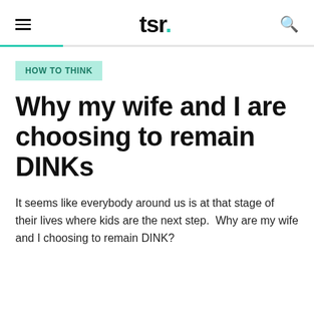tsr.
HOW TO THINK
Why my wife and I are choosing to remain DINKs
It seems like everybody around us is at that stage of their lives where kids are the next step.  Why are my wife and I choosing to remain DINK?